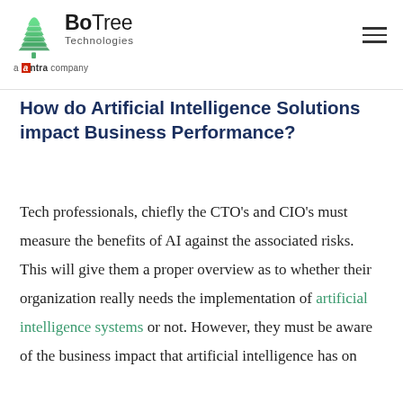BoTree Technologies — a antra company
How do Artificial Intelligence Solutions impact Business Performance?
Tech professionals, chiefly the CTO's and CIO's must measure the benefits of AI against the associated risks. This will give them a proper overview as to whether their organization really needs the implementation of artificial intelligence systems or not. However, they must be aware of the business impact that artificial intelligence has on